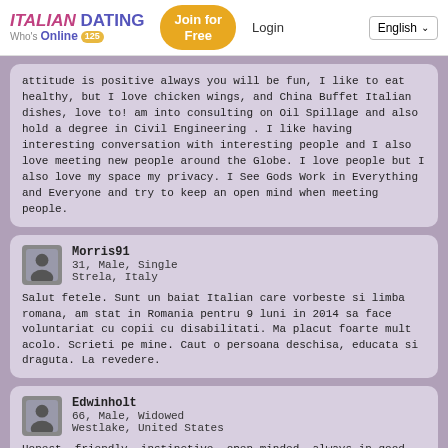ITALIAN DATING Who's Online 125 | Join for Free | Login | English
attitude is positive always you will be fun, I like to eat healthy, but I love chicken wings, and China Buffet Italian dishes, love to! am into consulting on Oil Spillage and also hold a degree in Civil Engineering . I like having interesting conversation with interesting people and I also love meeting new people around the Globe. I love people but I also love my space my privacy. I See Gods Work in Everything and Everyone and try to keep an open mind when meeting people.
Morris91
31, Male, Single
Strela, Italy

Salut fetele. Sunt un baiat Italian care vorbeste si limba romana, am stat in Romania pentru 9 luni in 2014 sa face voluntariat cu copii cu disabilitati. Ma placut foarte mult acolo. Scrieti pe mine. Caut o persoana deschisa, educata si draguta. La revedere.
Edwinholt
66, Male, Widowed
Westlake, United States

Honest, friendly, instinctive, open minded, always in good mood! like these kinds of music: Musica Italiana, Russian, Trance, House